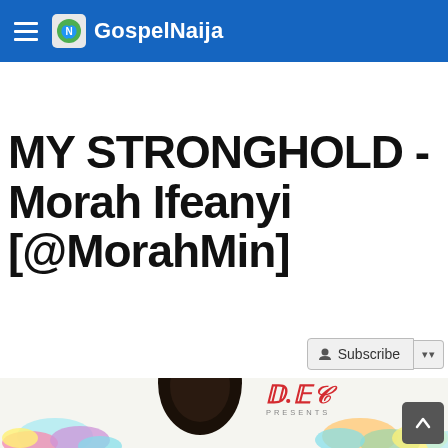GospelNaija
MY STRONGHOLD - Morah Ifeanyi [@MorahMin]
[Figure (screenshot): Subscribe button with dropdown arrow]
[Figure (photo): Partial photo of a person's head with colorful paint splashes and D.M.W Presents logo in red cursive text]